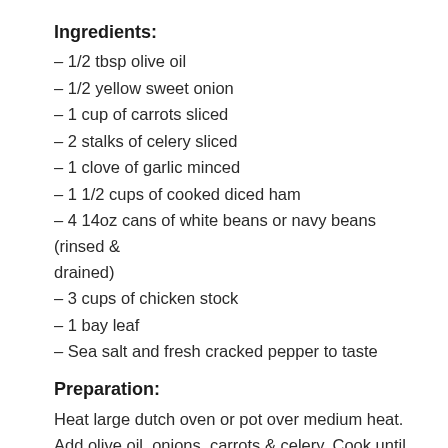Ingredients:
– 1/2 tbsp olive oil
– 1/2 yellow sweet onion
– 1 cup of carrots sliced
– 2 stalks of celery sliced
– 1 clove of garlic minced
– 1 1/2 cups of cooked diced ham
– 4 14oz cans of white beans or navy beans (rinsed & drained)
– 3 cups of chicken stock
– 1 bay leaf
– Sea salt and fresh cracked pepper to taste
Preparation:
Heat large dutch oven or pot over medium heat. Add olive oil, onions, carrots & celery. Cook until tender. Add garlic and ham and cook for 30-60 seconds before adding stock, 2 cans of beans, bay leaf, and salt and pepper to taste. Cook over medium low heat for at